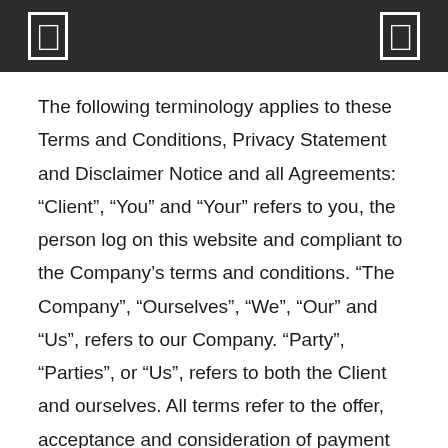The following terminology applies to these Terms and Conditions, Privacy Statement and Disclaimer Notice and all Agreements: “Client”, “You” and “Your” refers to you, the person log on this website and compliant to the Company’s terms and conditions. “The Company”, “Ourselves”, “We”, “Our” and “Us”, refers to our Company. “Party”, “Parties”, or “Us”, refers to both the Client and ourselves. All terms refer to the offer, acceptance and consideration of payment necessary to undertake the process of our assistance to the Client in the most appropriate manner for the express purpose of meeting the Client’s needs in respect of provision of the Company’s stated services, in accordance with and subject to, prevailing law of Netherlands. Any use of the above terminology or other words in the singular, plural, capitalization and/or he/she or they, are taken as